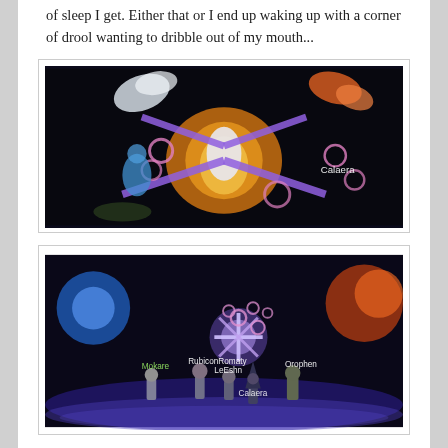of sleep I get. Either that or I end up waking up with a corner of drool wanting to dribble out of my mouth...
[Figure (screenshot): Video game screenshot showing a battle scene with a large glowing creature with purple wing-like appendages surrounded by pink rings, with characters fighting around it. A player name tag 'Calaera' is visible in the upper right.]
[Figure (screenshot): Video game screenshot showing multiple player characters from behind standing on a glowing purple field, with a central glowing entity and player name tags visible: RubiconRomaty, Mokare, LeEshn, Calaera, Orophen.]